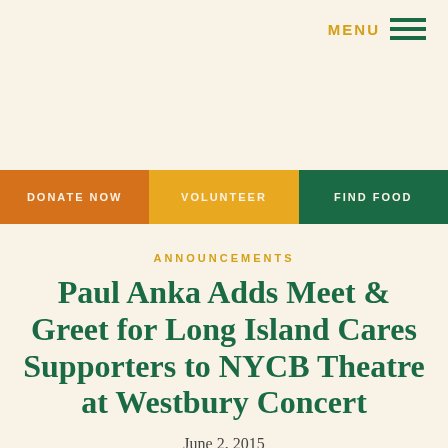MENU
DONATE NOW
VOLUNTEER
FIND FOOD
ANNOUNCEMENTS
Paul Anka Adds Meet & Greet for Long Island Cares Supporters to NYCB Theatre at Westbury Concert
June 2, 2015